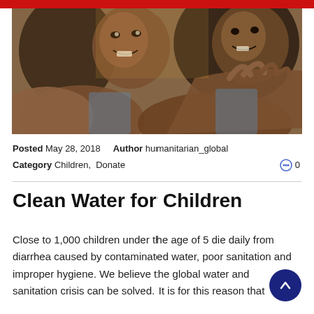[Figure (photo): A close-up photo of African children smiling and reaching their hands toward the camera.]
Posted May 28, 2018   Author humanitarian_global  Category Children, Donate   0
Clean Water for Children
Close to 1,000 children under the age of 5 die daily from diarrhea caused by contaminated water, poor sanitation and improper hygiene. We believe the global water and sanitation crisis can be solved. It is for this reason that